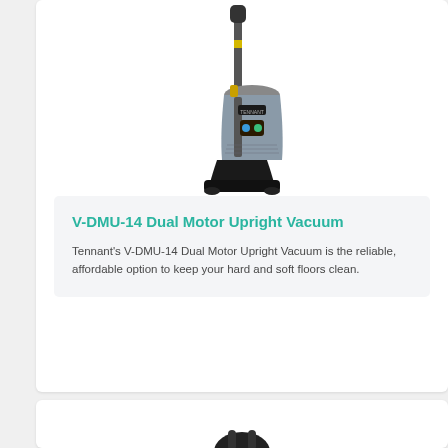[Figure (photo): Tennant V-DMU-14 Dual Motor Upright Vacuum cleaner product photo — grey and black upright vacuum on white background]
V-DMU-14 Dual Motor Upright Vacuum
Tennant's V-DMU-14 Dual Motor Upright Vacuum is the reliable, affordable option to keep your hard and soft floors clean.
[Figure (photo): Partial image of another cleaning product at the bottom of the page]